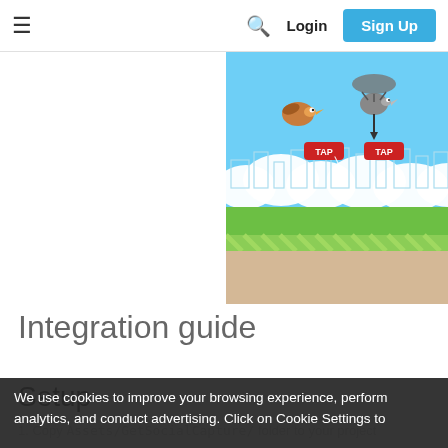≡   🔍  Login  Sign Up
[Figure (screenshot): Flappy Bird style game screenshot showing birds and TAP buttons over a sky background with clouds, city skyline, and green ground]
Integration guide
Setup
1. Copy Assets/GetSocialCapture/ folder to your project
We use cookies to improve your browsing experience, perform analytics, and conduct advertising. Click on Cookie Settings to